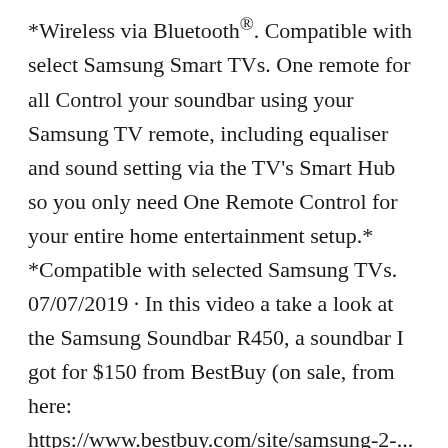*Wireless via Bluetooth®. Compatible with select Samsung Smart TVs. One remote for all Control your soundbar using your Samsung TV remote, including equaliser and sound setting via the TV's Smart Hub so you only need One Remote Control for your entire home entertainment setup.* *Compatible with selected Samsung TVs. 07/07/2019 · In this video a take a look at the Samsung Soundbar R450, a soundbar I got for $150 from BestBuy (on sale, from here: https://www.bestbuy.com/site/samsung-2-...
Bsr J ai connecte une barre son sansung hw h450 entre le décodeur tv et le téléviseur Cela a fonctionné puis depuis une mise à jour tv orange nous ne pouvons plus utilisé la barre son Pouvez vous nous aider [EDIT: Titre modifié suite